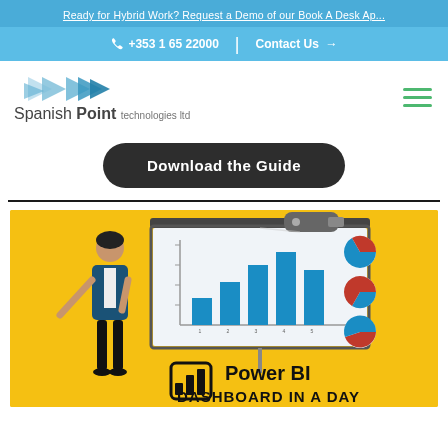Ready for Hybrid Work? Request a Demo of our Book A Desk Ap...
+353 1 65 22000  |  Contact Us →
[Figure (logo): Spanish Point technologies ltd logo with blue triangle/arrow shapes]
Download the Guide
[Figure (illustration): Power BI Dashboard in a Day promotional banner with cartoon presenter pointing at a bar chart on a projection screen, pie charts, yellow background, Power BI logo]